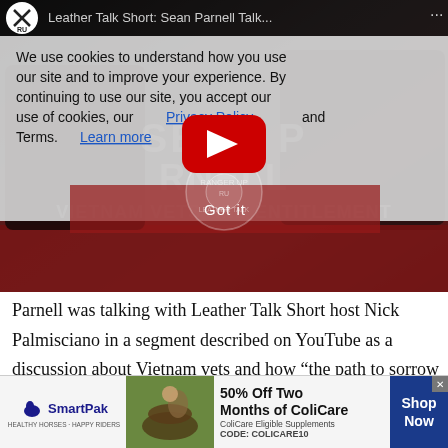[Figure (screenshot): Video thumbnail showing Sean Parnell and host Nick Palmisciano seated on a red couch, with Ranger Up branding and a cookie consent overlay. Title reads 'Leather Talk Short: Sean Parnell Talk...' A YouTube play button is visible in the center. Text overlays show 'SEAN PARNELL' and 'VIETNAM VETS AND ENTITLEMENT'. A red 'Got it' bar appears at bottom of video.]
Parnell was talking with Leather Talk Short host Nick Palmisciano in a segment described on YouTube as a discussion about Vietnam vets and how “the path to sorrow starts with increased entitlement.” Leather Talk
[Figure (infographic): SmartPak advertisement banner: '50% Off Two Months of ColiCare. ColiCare Eligible Supplements. CODE: COLICARE10'. Features SmartPak logo, horse photo, and blue Shop Now button.]